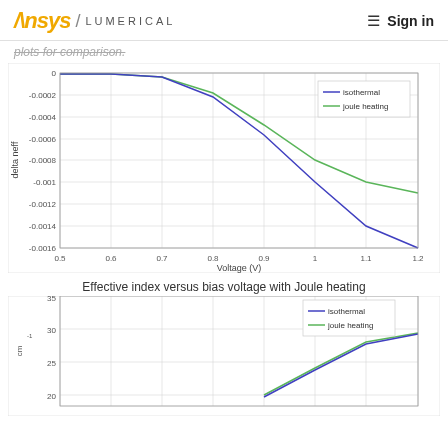Ansys / LUMERICAL   ≡ Sign in
plots for comparison.
[Figure (continuous-plot): Line chart showing delta neff versus Voltage (V) from 0.5 to 1.2 V. Two lines: blue (isothermal) decreases more steeply, green (joule heating) decreases less steeply. Y-axis ranges from 0 to -0.0016. Both lines start near 0 at 0.5V and decrease, with blue reaching about -0.0016 at 1.2V and green reaching about -0.00108.]
Effective index versus bias voltage with Joule heating
[Figure (continuous-plot): Partial line chart showing bottom portion. Y-axis labeled cm^-1, visible range from 20 to 35. Two lines: blue (isothermal) and green (joule heating) both increasing, reaching about 30 at right edge. Legend shows isothermal (blue) and joule heating (green).]